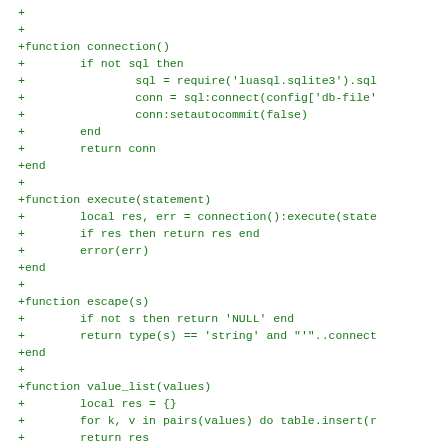+
+
+function connection()
+        if not sql then
+                sql = require('luasql.sqlite3').sql
+                conn = sql:connect(config['db-file'
+                conn:setautocommit(false)
+        end
+        return conn
+end
+
+function execute(statement)
+        local res, err = connection():execute(state
+        if res then return res end
+        error(err)
+end
+
+function escape(s)
+        if not s then return 'NULL' end
+        return type(s) == 'string' and "'"..connect
+end
+
+function value_list(values)
+        local res = {}
+        for k, v in pairs(values) do table.insert(r
+        return res
+end
+
+function insert(tbl, values)
+        local columns = {}